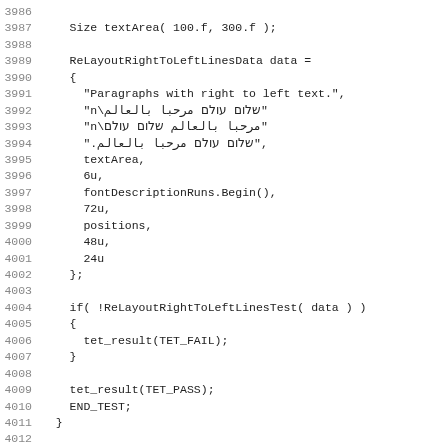Source code listing lines 3986-4017 showing C++ test code with ReLayoutRightToLeftLinesData initialization and UtcDaliTextAlign01 function.